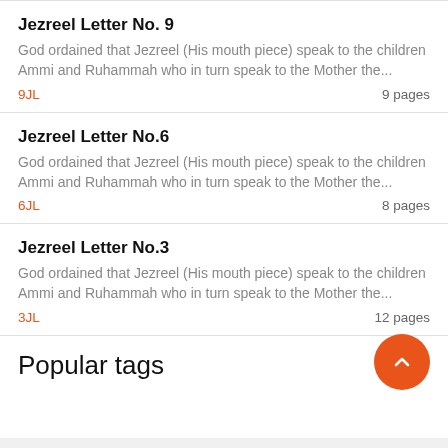Jezreel Letter No. 9
God ordained that Jezreel (His mouth piece) speak to the children Ammi and Ruhammah who in turn speak to the Mother the...
9JL  9 pages
Jezreel Letter No.6
God ordained that Jezreel (His mouth piece) speak to the children Ammi and Ruhammah who in turn speak to the Mother the...
6JL  8 pages
Jezreel Letter No.3
God ordained that Jezreel (His mouth piece) speak to the children Ammi and Ruhammah who in turn speak to the Mother the...
3JL  12 pages
Popular tags